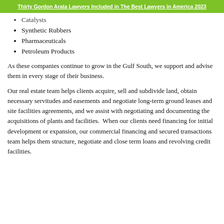Thirty Gordon Arata Lawyers Included in The Best Lawyers in America 2023
Catalysts
Synthetic Rubbers
Pharmaceuticals
Petroleum Products
As these companies continue to grow in the Gulf South, we support and advise them in every stage of their business.
Our real estate team helps clients acquire, sell and subdivide land, obtain necessary servitudes and easements and negotiate long-term ground leases and site facilities agreements, and we assist with negotiating and documenting the acquisitions of plants and facilities.  When our clients need financing for initial development or expansion, our commercial financing and secured transactions team helps them structure, negotiate and close term loans and revolving credit facilities.